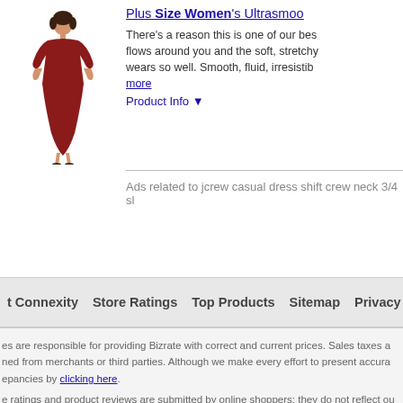[Figure (photo): Woman wearing a red/burgundy shift dress with 3/4 sleeves]
Plus Size Women's Ultrasmoo...
There's a reason this is one of our bes... flows around you and the soft, stretchy... wears so well. Smooth, fluid, irresistib... more
Product Info ▼
Ads related to jcrew casual dress shift crew neck 3/4 sl...
t Connexity   Store Ratings   Top Products   Sitemap   Privacy Policy   User Agreement
es are responsible for providing Bizrate with correct and current prices. Sales taxes a... ned from merchants or third parties. Although we make every effort to present accura... epancies by clicking here.
e ratings and product reviews are submitted by online shoppers; they do not reflect ou...
22 Connexity, Inc. / Bizrate is a division of Connexity, Inc.